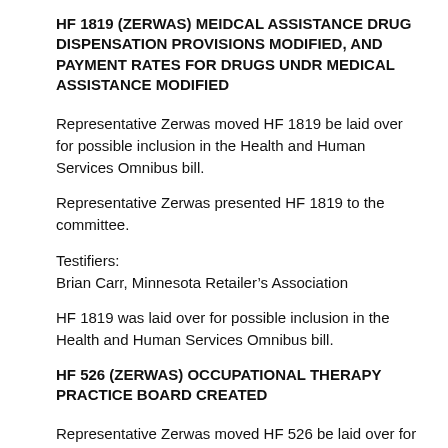HF 1819 (ZERWAS) MEIDCAL ASSISTANCE DRUG DISPENSATION PROVISIONS MODIFIED, AND PAYMENT RATES FOR DRUGS UNDR MEDICAL ASSISTANCE MODIFIED
Representative Zerwas moved HF 1819 be laid over for possible inclusion in the Health and Human Services Omnibus bill.
Representative Zerwas presented HF 1819 to the committee.
Testifiers:
Brian Carr, Minnesota Retailer’s Association
HF 1819 was laid over for possible inclusion in the Health and Human Services Omnibus bill.
HF 526 (ZERWAS) OCCUPATIONAL THERAPY PRACTICE BOARD CREATED
Representative Zerwas moved HF 526 be laid over for possible inclusion in the Health and Human Services Omnibus bill.
Representative Zerwas presented HF 526 to the committee.